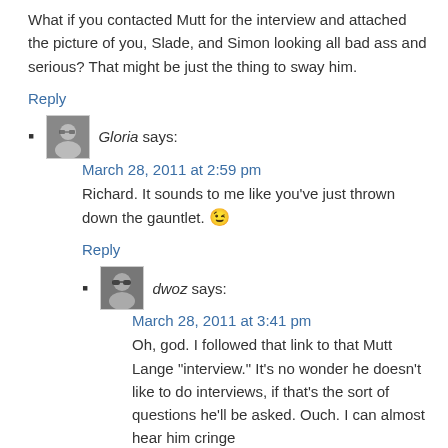What if you contacted Mutt for the interview and attached the picture of you, Slade, and Simon looking all bad ass and serious? That might be just the thing to sway him.
Reply
Gloria says:
March 28, 2011 at 2:59 pm
Richard. It sounds to me like you've just thrown down the gauntlet. 😉
Reply
dwoz says:
March 28, 2011 at 3:41 pm
Oh, god. I followed that link to that Mutt Lange "interview." It's no wonder he doesn't like to do interviews, if that's the sort of questions he'll be asked. Ouch. I can almost hear him cringe